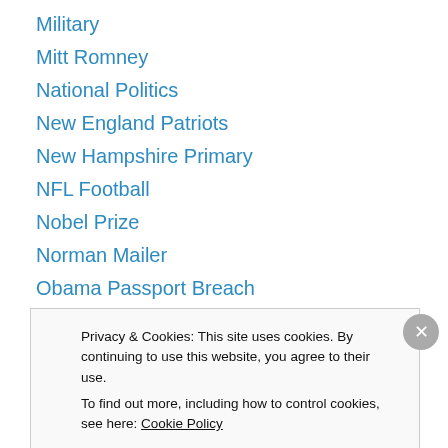Military
Mitt Romney
National Politics
New England Patriots
New Hampshire Primary
NFL Football
Nobel Prize
Norman Mailer
Obama Passport Breach
Obama's Passport Information
Ogonowski
Oprah Winfrey
Patrick Kennedy
Privacy & Cookies: This site uses cookies. By continuing to use this website, you agree to their use.
To find out more, including how to control cookies, see here: Cookie Policy